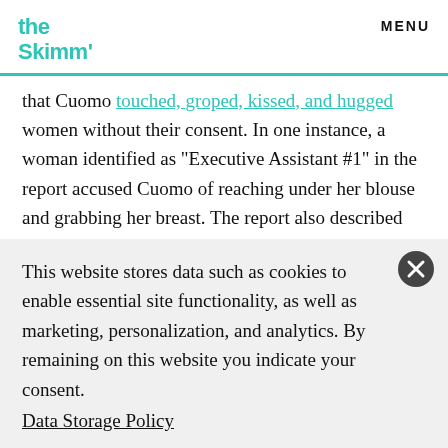the Skimm' | MENU
that Cuomo touched, groped, kissed, and hugged women without their consent. In one instance, a woman identified as "Executive Assistant #1" in the report accused Cuomo of reaching under her blouse and grabbing her breast. The report also described instances in which the governor harassed a female state trooper. Including running his hand or fingers
This website stores data such as cookies to enable essential site functionality, as well as marketing, personalization, and analytics. By remaining on this website you indicate your consent.
Data Storage Policy